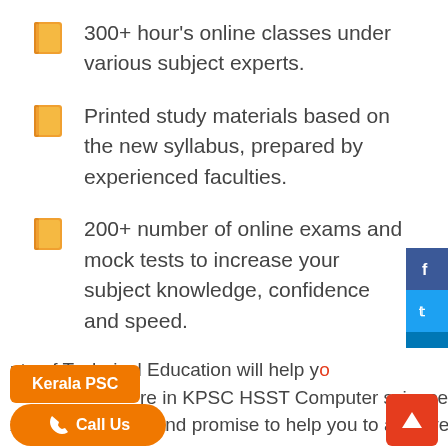300+ hour's online classes under various subject experts.
Printed study materials based on the new syllabus, prepared by experienced faculties.
200+ number of online exams and mock tests to increase your subject knowledge, confidence and speed.
The best mentoring and monitoring by expert faculties, toppers to support you till the examination.
ute of Technical Education will help y... in KPSC HSST Computer science xamination 2022 and promise to help you to achieve your